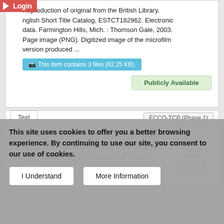Reproduction of original from the British Library. English Short Title Catalog, ESTCT182962. Electronic data. Farmington Hills, Mich. : Thomson Gale, 2003. Page image (PNG). Digitized image of the microfilm version produced ...
This item contains 3 files (62.25 KB).
Publicly Available
Text   ECCO-TCP (Phase 1)
Cibber and Sheridan: or, the Dublin miscellany. Containing all the advertisements, letters, ... Lately publish'd, on account of the theatric ... Back Alley, ... by Mr. Cibber, ... Date of publication:
This site uses cookies to offer you a better browsing experience. By continuing to use our site, you consent to our use of cookies.
I Understand
More Information